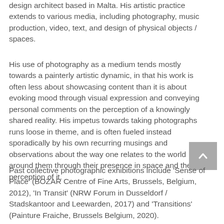design architect based in Malta. His artistic practice extends to various media, including photography, music production, video, text, and design of physical objects / spaces.
His use of photography as a medium tends mostly towards a painterly artistic dynamic, in that his work is often less about showcasing content than it is about evoking mood through visual expression and conveying personal comments on the perception of a knowingly shared reality. His impetus towards taking photographs runs loose in theme, and is often fueled instead sporadically by his own recurring musings and observations about the way one relates to the world around them through their presence in space and their perception of it.
Past collective photographic exhibitions include 'Sense of Place' (BOZAR Centre of Fine Arts, Brussels, Belgium, 2012), 'In Transit' (NRW Forum in Dusseldorf / Stadskantoor and Leewarden, 2017) and 'Transitions' (Painture Fraiche, Brussels Belgium, 2020).